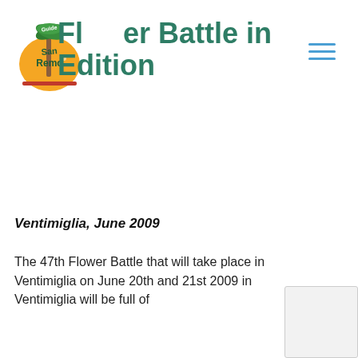[Figure (logo): Guide San Remo logo with palm tree and sun, orange/green colors]
Flower Battle in Edition
Ventimiglia, June 2009
The 47th Flower Battle that will take place in Ventimiglia on June 20th and 21st 2009 in Ventimiglia will be full of